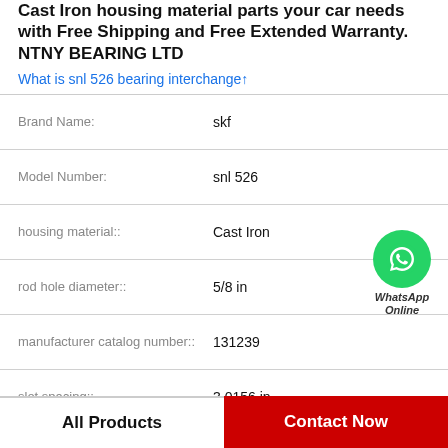Cast Iron housing material parts your car needs with Free Shipping and Free Extended Warranty. NTNY BEARING LTD
What is snl 526 bearing interchange↑
| Attribute | Value |
| --- | --- |
| Brand Name: | skf |
| Model Number: | snl 526 |
| housing material:: | Cast Iron |
| rod hole diameter:: | 5/8 in |
| manufacturer catalog number:: | 131239 |
| slot spacing:: | 3.0156 in |
| series:: | 205 |
[Figure (logo): WhatsApp Online contact button with green phone icon circle and italic text 'WhatsApp Online']
All Products
Contact Now